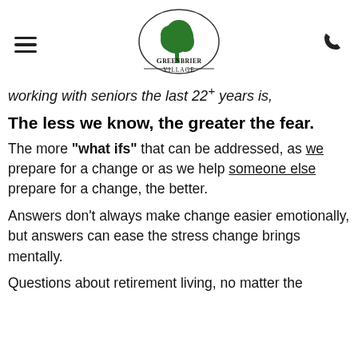[Figure (logo): Greenbrier Village logo with green tree inside an arch, text reads GREENBRIER VILLAGE]
working with seniors the last 22+ years is,
The less we know, the greater the fear.
The more "what ifs" that can be addressed, as we prepare for a change or as we help someone else prepare for a change, the better.
Answers don't always make change easier emotionally, but answers can ease the stress change brings mentally.
Questions about retirement living, no matter the